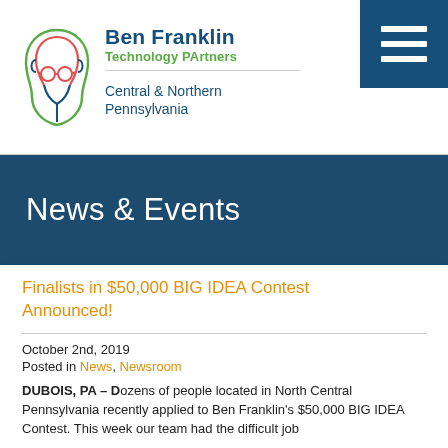[Figure (logo): Ben Franklin Technology Partners logo with stylized face outline in red/green/blue]
Ben Franklin Technology Partners Central & Northern Pennsylvania
News & Events
Finalists in $50,000 BIG IDEA Contest Announced!
October 2nd, 2019
Posted in News, Newsroom
DUBOIS, PA – Dozens of people located in North Central Pennsylvania recently applied to Ben Franklin's $50,000 BIG IDEA Contest. This week our team had the difficult job